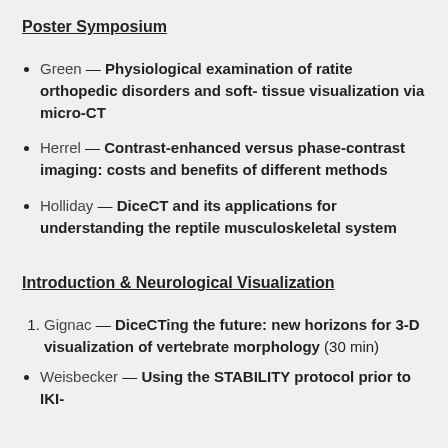Poster Symposium
Green — Physiological examination of ratite orthopedic disorders and soft- tissue visualization via micro-CT
Herrel — Contrast-enhanced versus phase-contrast imaging: costs and benefits of different methods
Holliday — DiceCT and its applications for understanding the reptile musculoskeletal system
Introduction & Neurological Visualization
Gignac — DiceCTing the future: new horizons for 3-D visualization of vertebrate morphology (30 min)
Weisbecker — Using the STABILITY protocol prior to IKI-